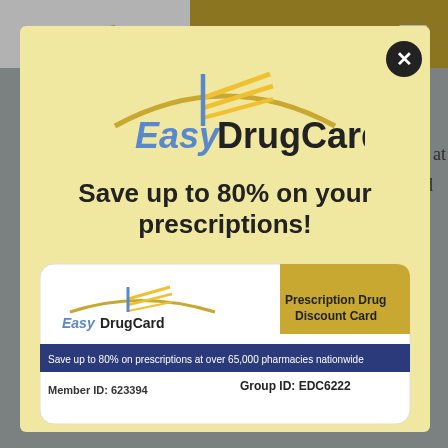Get Your Card
Nutrition, Dietetics and Food Science from California State University at Northridge and has since worked in a
[Figure (logo): EasyDrugCard logo with golden lines and blue/dark text in modal popup]
Save up to 80% on your prescriptions!
[Figure (illustration): EasyDrugCard prescription drug discount card showing Group ID: EDC6222, Member ID: 623394, save up to 80% on prescriptions at over 65,000 pharmacies nationwide]